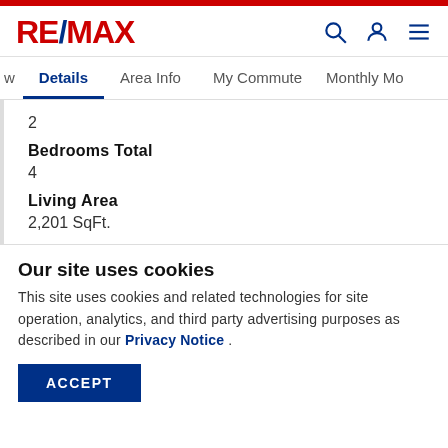[Figure (logo): RE/MAX logo in red and blue]
w | Details | Area Info | My Commute | Monthly Mo
2
Bedrooms Total
4
Living Area
2,201 SqFt.
Our site uses cookies
This site uses cookies and related technologies for site operation, analytics, and third party advertising purposes as described in our Privacy Notice .
ACCEPT